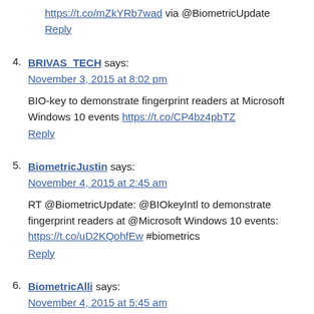https://t.co/mZkYRb7wad via @BiometricUpdate
Reply
4. BRIVAS_TECH says:
November 3, 2015 at 8:02 pm
BIO-key to demonstrate fingerprint readers at Microsoft Windows 10 events https://t.co/CP4bz4pbTZ
Reply
5. BiometricJustin says:
November 4, 2015 at 2:45 am
RT @BiometricUpdate: @BIOkeyIntl to demonstrate fingerprint readers at @Microsoft Windows 10 events: https://t.co/uD2KQohfEw #biometrics
Reply
6. BiometricAlli says:
November 4, 2015 at 5:45 am
RT @BiometricUpdate: @BIOkeyIntl to demonstrate